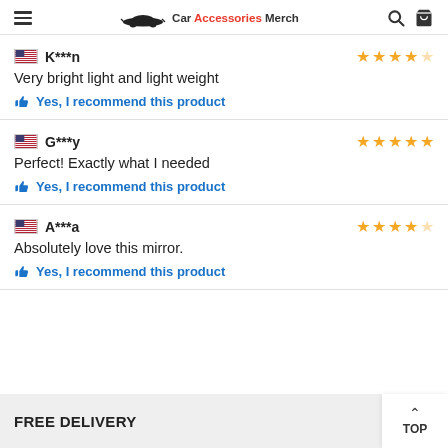Car Accessories Merch
K***n — Very bright light and light weight — Yes, I recommend this product — 4 stars
G***y — Perfect! Exactly what I needed — Yes, I recommend this product — 5 stars
A***a — Absolutely love this mirror. — Yes, I recommend this product — 4 stars
FREE DELIVERY